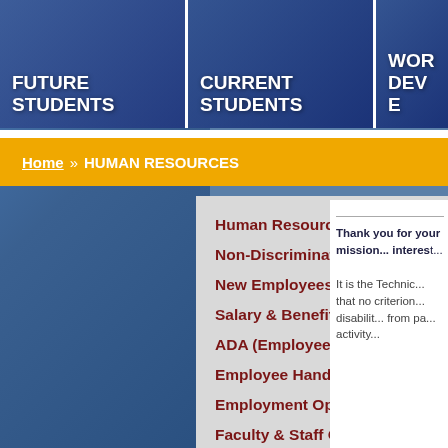[Figure (screenshot): Navigation tiles at top: FUTURE STUDENTS (blue overlay with people), CURRENT STUDENTS (blue overlay with people), WORK/DEVEL... (partially visible)]
Home » HUMAN RESOURCES
Human Resources
Non-Discrimination Policy
New Employees (Start Here!)
Salary & Benefits
ADA (Employee Information)
Employee Handbook
Employment Opportunities
Faculty & Staff Online Handbook
Annual Performance Evaluation
Thank you for your mission... interest...
It is the Technic... that no criterion... disabilit... from pa... activity...